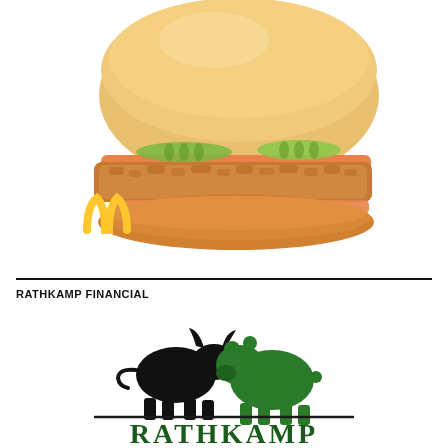[Figure (photo): McDonald's Crispy Chicken Sandwich on a brioche bun with pickles and spicy sauce, with McDonald's golden arches logo in the bottom left corner of the image.]
RATHKAMP FINANCIAL
[Figure (logo): Rathkamp Financial logo featuring a black bull and green bear facing each other above a horizontal line with the text RATHKAMP in dark green serif letters.]